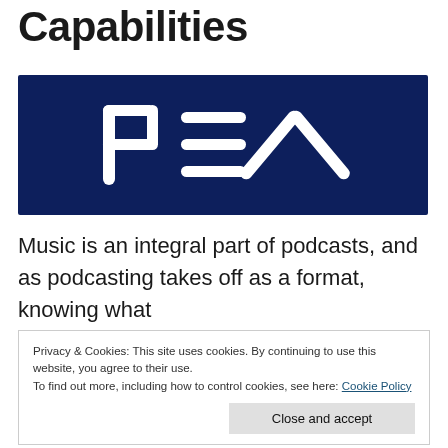Capabilities
[Figure (logo): PEX logo — white stylized P and equals-like lines with an X on a dark navy blue background]
Music is an integral part of podcasts, and as podcasting takes off as a format, knowing what
Privacy & Cookies: This site uses cookies. By continuing to use this website, you agree to their use.
To find out more, including how to control cookies, see here: Cookie Policy
Close and accept
scans for its clients.